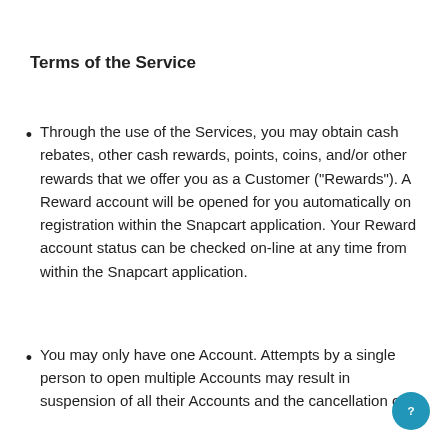Terms of the Service
Through the use of the Services, you may obtain cash rebates, other cash rewards, points, coins, and/or other rewards that we offer you as a Customer (“Rewards”). A Reward account will be opened for you automatically on registration within the Snapcart application. Your Reward account status can be checked on-line at any time from within the Snapcart application.
You may only have one Account. Attempts by a single person to open multiple Accounts may result in suspension of all their Accounts and the cancellation of